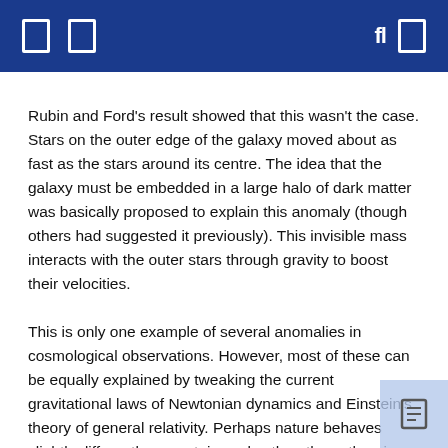Rubin and Ford's result showed that this wasn't the case. Stars on the outer edge of the galaxy moved about as fast as the stars around its centre. The idea that the galaxy must be embedded in a large halo of dark matter was basically proposed to explain this anomaly (though others had suggested it previously). This invisible mass interacts with the outer stars through gravity to boost their velocities.
This is only one example of several anomalies in cosmological observations. However, most of these can be equally explained by tweaking the current gravitational laws of Newtonian dynamics and Einstein's theory of general relativity. Perhaps nature behaves slightly differently on certain scales than these theories predict?